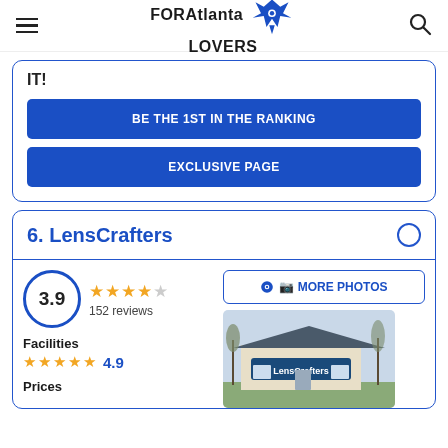FOR Atlanta LOVERS
IT!
BE THE 1ST IN THE RANKING
EXCLUSIVE PAGE
6. LensCrafters
3.9 — 152 reviews
MORE PHOTOS
Facilities
4.9
Prices
[Figure (photo): Exterior photo of a LensCrafters store building with signage, surrounded by bare trees.]